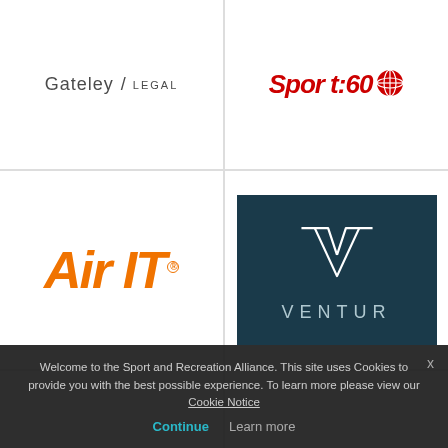[Figure (logo): Gateley LEGAL logo - text logo with slash separator]
[Figure (logo): Sport:60 logo - red italic text with globe icon]
[Figure (logo): Air IT logo - bold orange italic text]
[Figure (logo): VENTUR logo - dark teal background with geometric V/wing icon and text]
[Figure (logo): Bluefin Sport logo - navy and teal bold text]
[Figure (logo): joymo logo - dark bold text with arrow/chevron]
Welcome to the Sport and Recreation Alliance. This site uses Cookies to provide you with the best possible experience. To learn more please view our Cookie Notice
Continue
Learn more